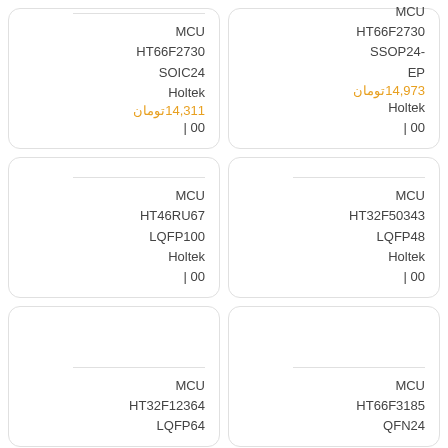MCU
HT66F2730
SOIC24
Holtek
14,311 تومان
| 00
MCU
HT66F2730
SSOP24-EP
14,973 تومان
Holtek
| 00
MCU
HT46RU67
LQFP100
Holtek
| 00
MCU
HT32F50343
LQFP48
Holtek
| 00
MCU
HT32F12364
LQFP64
MCU
HT66F3185
QFN24